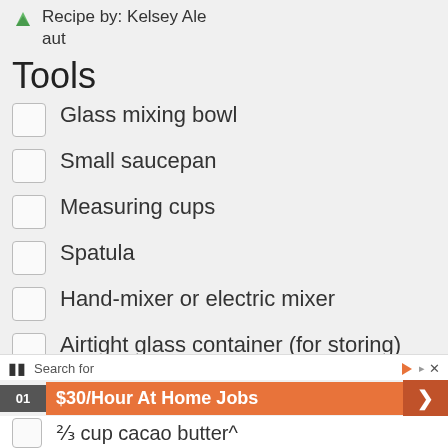Recipe by: Kelsey Aut
Tools
Glass mixing bowl
Small saucepan
Measuring cups
Spatula
Hand-mixer or electric mixer
Airtight glass container (for storing)
Search for
01 $30/Hour At Home Jobs
⅔ cup cacao butter^